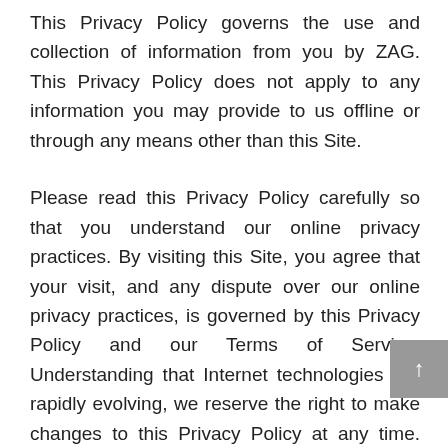This Privacy Policy governs the use and collection of information from you by ZAG. This Privacy Policy does not apply to any information you may provide to us offline or through any means other than this Site.
Please read this Privacy Policy carefully so that you understand our online privacy practices. By visiting this Site, you agree that your visit, and any dispute over our online privacy practices, is governed by this Privacy Policy and our Terms of Service. Understanding that Internet technologies are rapidly evolving, we reserve the right to make changes to this Privacy Policy at any time. Any such changes will be promptly posted on this page, with an updated “effective date” posted at the